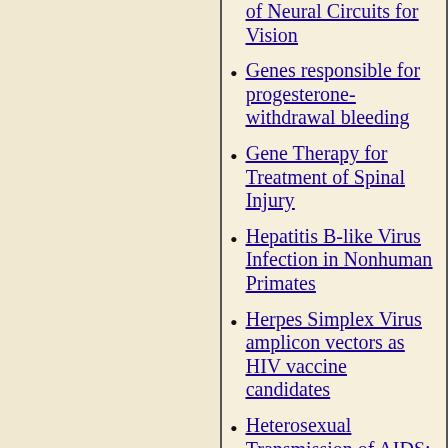of Neural Circuits for Vision
Genes responsible for progesterone-withdrawal bleeding
Gene Therapy for Treatment of Spinal Injury
Hepatitis B-like Virus Infection in Nonhuman Primates
Herpes Simplex Virus amplicon vectors as HIV vaccine candidates
Heterosexual Transmission of AIDS: A simian model